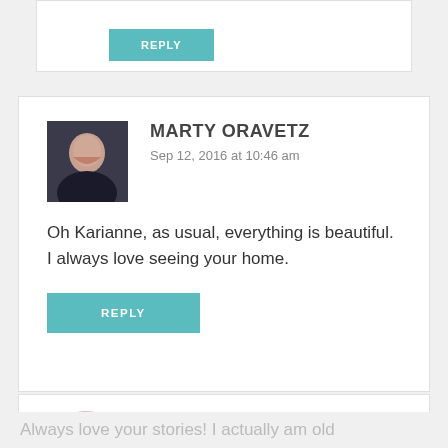[Figure (other): Teal/cyan REPLY button at top, partial comment box]
MARTY ORAVETZ
Sep 12, 2016 at 10:46 am
Oh Karianne, as usual, everything is beautiful. I always love seeing your home.
REPLY
MARY
Sep 12, 2016 at 11:02 am
Always love your stories! I actually am old